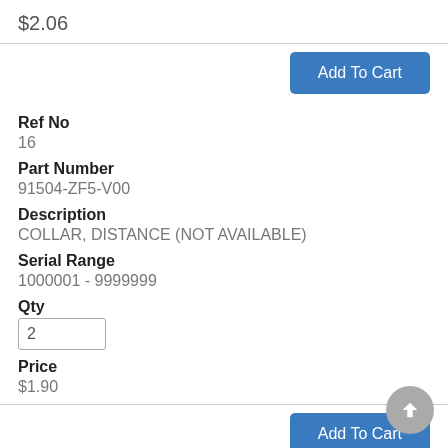$2.06
Add To Cart
Ref No
16
Part Number
91504-ZF5-V00
Description
COLLAR, DISTANCE (NOT AVAILABLE)
Serial Range
1000001 - 9999999
Qty
2
Price
$1.90
Add To Cart
Ref No
17